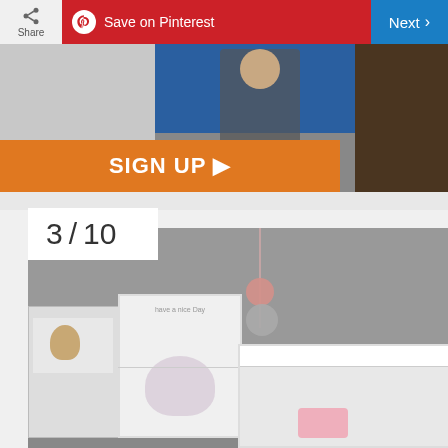[Figure (screenshot): Top navigation bar with Share button, Save on Pinterest button (red), and Next button (blue)]
[Figure (photo): Advertisement banner with orange SIGN UP button and person in overalls standing near bookshelf]
3 / 10
[Figure (photo): Baby nursery room with grey chalkboard wall, pom-pom decorations hanging, white crib, storage shelves with teddy bear, and butterfly wall art with 'Have a nice Day' text]